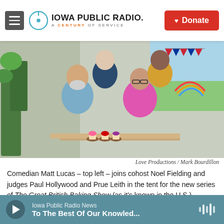Iowa Public Radio. A Century of Service — Donate
[Figure (photo): Four people posing in a baking tent kitchen: Paul Hollywood (front left, blue shirt, white beard), Prue Leith (front right, pink jacket, glasses), Matt Lucas (back left, dark floral shirt), Noel Fielding (back right, yellow sweater). British bunting flags visible in background. Cupcakes on the table in foreground.]
Love Productions / Mark Bourdillon
Comedian Matt Lucas – top left – joins cohost Noel Fielding and judges Paul Hollywood and Prue Leith in the tent for the new series of The Great British Baking Show (as it's known in the U.S.)
Iowa Public Radio News — To The Best Of Our Knowled...